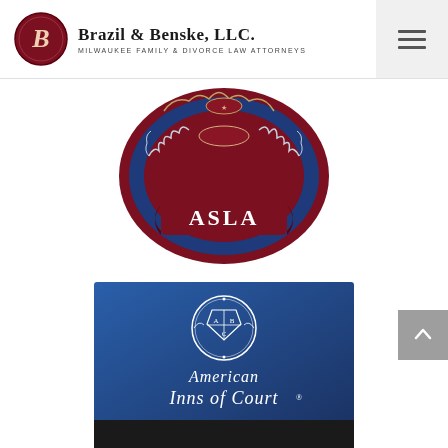[Figure (logo): Brazil & Benske, LLC. Milwaukee Family & Divorce Law Attorneys logo with circular B monogram in dark red]
[Figure (logo): ASLA badge/seal in dark red and navy blue with laurel wreath design]
[Figure (logo): American Inns of Court logo on blue background with heraldic shield crest]
[Figure (logo): Partial view of a third logo/badge at the bottom of the page, black background]